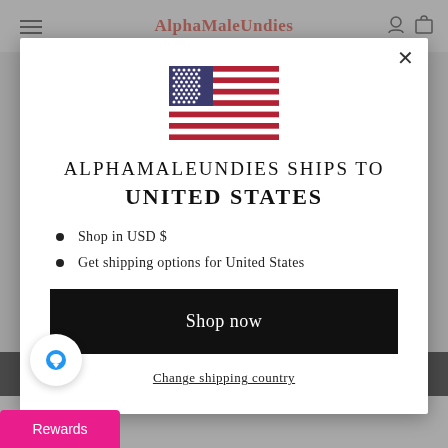AlphaMaleUndies
[Figure (screenshot): Modal popup dialog on AlphaMaleUndies website showing country shipping selector with US flag, title text, bullet list, and shop now button]
ALPHAMALEUNDIES SHIPS TO UNITED STATES
Shop in USD $
Get shipping options for United States
Shop now
Change shipping country